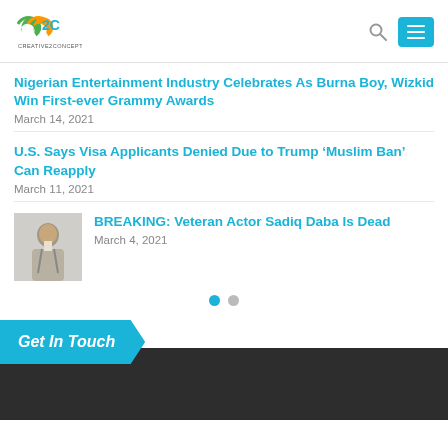[Figure (logo): C2C Creative2Concepts logo with colorful interlinked C letters]
Nigerian Entertainment Industry Celebrates As Burna Boy, Wizkid Win First-ever Grammy Awards
March 14, 2021
U.S. Says Visa Applicants Denied Due to Trump ‘Muslim Ban’ Can Reapply
March 11, 2021
[Figure (photo): Thumbnail photo of Veteran Actor Sadiq Daba, elderly man in white shirt]
BREAKING: Veteran Actor Sadiq Daba Is Dead
March 4, 2021
Get In Touch